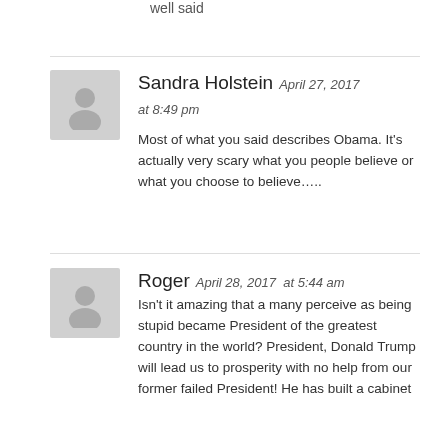well said
Sandra Holstein  April 27, 2017  at 8:49 pm
Most of what you said describes Obama. It's actually very scary what you people believe or what you choose to believe…..
Roger  April 28, 2017  at 5:44 am
Isn't it amazing that a many perceive as being stupid became President of the greatest country in the world? President, Donald Trump will lead us to prosperity with no help from our former failed President! He has built a cabinet